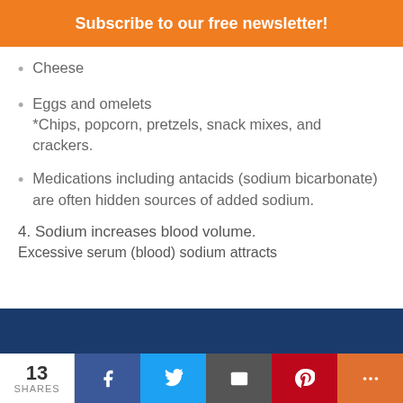Subscribe to our free newsletter!
Cheese
Eggs and omelets
*Chips, popcorn, pretzels, snack mixes, and crackers.
Medications including antacids (sodium bicarbonate) are often hidden sources of added sodium.
4. Sodium increases blood volume.
Excessive serum (blood) sodium attracts